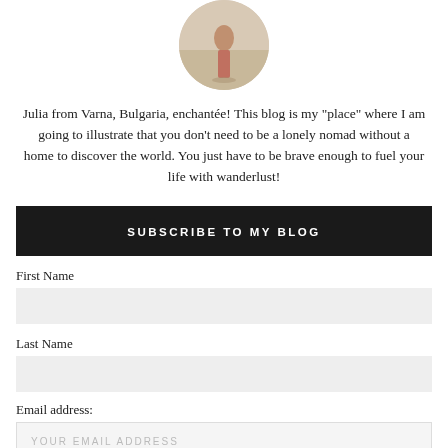[Figure (photo): Circular profile photo of a person standing outdoors, cropped at the waist, warm sandy tones.]
Julia from Varna, Bulgaria, enchantée! This blog is my "place" where I am going to illustrate that you don't need to be a lonely nomad without a home to discover the world. You just have to be brave enough to fuel your life with wanderlust!
SUBSCRIBE TO MY BLOG
First Name
Last Name
Email address:
YOUR EMAIL ADDRESS
SIGN UP